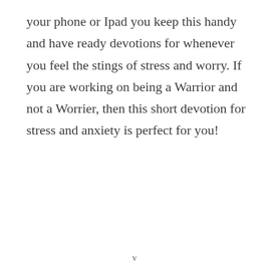your phone or Ipad you keep this handy and have ready devotions for whenever you feel the stings of stress and worry. If you are working on being a Warrior and not a Worrier, then this short devotion for stress and anxiety is perfect for you!
v